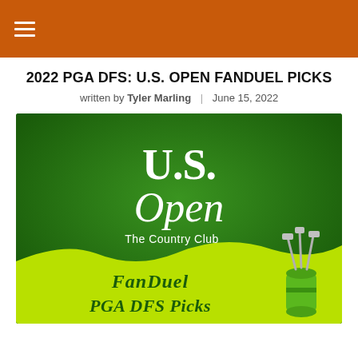2022 PGA DFS: U.S. OPEN FANDUEL PICKS
written by Tyler Marling | June 15, 2022
[Figure (illustration): U.S. Open at The Country Club FanDuel PGA DFS Picks promotional graphic with green background and golf bag illustration]